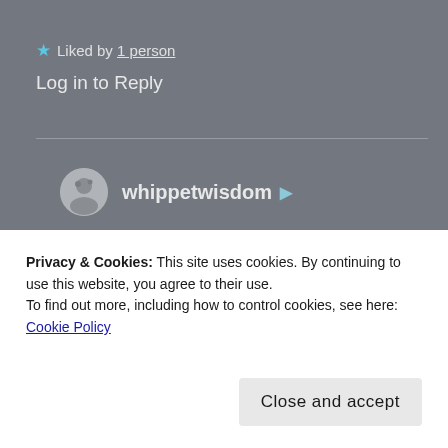★ Liked by 1 person
Log in to Reply
whippetwisdom
May 16, 2020 at 8:23 am
Thank you kindly dear Fred, that's beautiful 💙
★ Liked by 1 person
Privacy & Cookies: This site uses cookies. By continuing to use this website, you agree to their use. To find out more, including how to control cookies, see here: Cookie Policy
Close and accept
May 17, 2020 at 9:47 pm